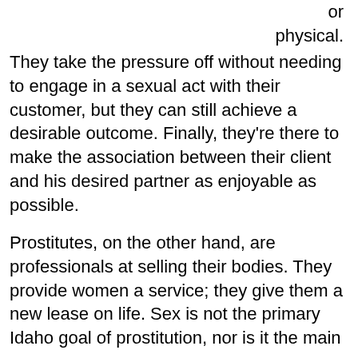or physical.
They take the pressure off without needing to engage in a sexual act with their customer, but they can still achieve a desirable outcome. Finally, they're there to make the association between their client and his desired partner as enjoyable as possible.
Prostitutes, on the other hand, are professionals at selling their bodies. They provide women a service; they give them a new lease on life. Sex is not the primary Idaho goal of prostitution, nor is it the main purpose.
Well, okay. If they are in this business for the money, then what makes someone do it? Where does the "hooker" moniker come from?
Being a prostitute is not easy,